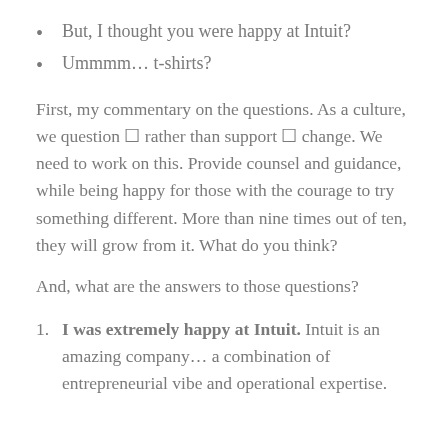But, I thought you were happy at Intuit?
Ummmm… t-shirts?
First, my commentary on the questions. As a culture, we question ■ rather than support ■ change. We need to work on this. Provide counsel and guidance, while being happy for those with the courage to try something different. More than nine times out of ten, they will grow from it. What do you think?
And, what are the answers to those questions?
I was extremely happy at Intuit. Intuit is an amazing company… a combination of entrepreneurial vibe and operational expertise.